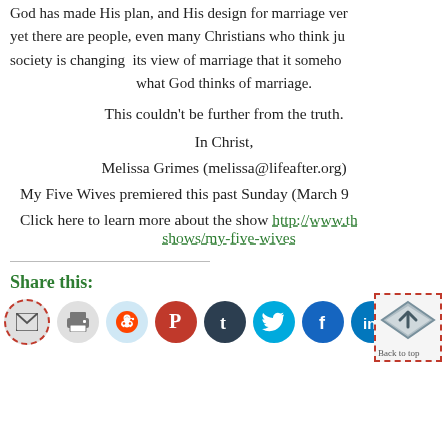God has made His plan, and His design for marriage ver yet there are people, even many Christians who think ju society is changing its view of marriage that it someho what God thinks of marriage.
This couldn't be further from the truth.
In Christ,
Melissa Grimes (melissa@lifeafter.org)
My Five Wives premiered this past Sunday (March 9
Click here to learn more about the show http://www.th shows/my-five-wives
Share this:
[Figure (infographic): Row of social sharing icon buttons: email, print, reddit, pinterest, tumblr, twitter, facebook, linkedin, pocket. Plus a back-to-top diamond button in the lower right.]